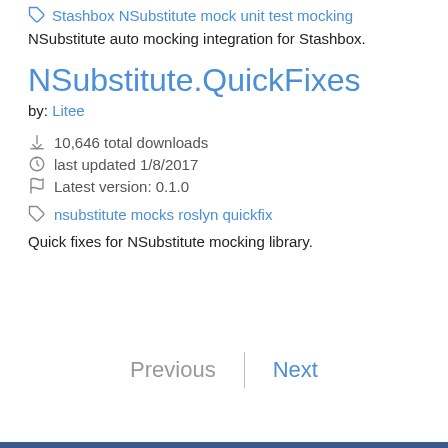Stashbox NSubstitute mock unit test mocking
NSubstitute auto mocking integration for Stashbox.
NSubstitute.QuickFixes
by: Litee
10,646 total downloads
last updated 1/8/2017
Latest version: 0.1.0
nsubstitute mocks roslyn quickfix
Quick fixes for NSubstitute mocking library.
Previous | Next